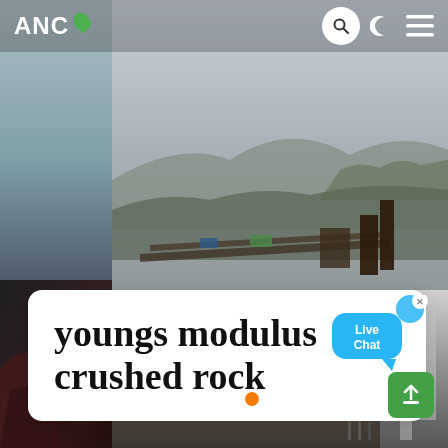[Figure (screenshot): Website screenshot showing ANC logo and navigation header with search, dark mode, and menu icons over a collage of aerial industrial/mining site photographs]
youngs modulus crushed rock
[Figure (infographic): Live Chat speech bubble widget in blue]
[Figure (infographic): Slide navigation dots: white, white, orange (active 3rd)]
[Figure (infographic): Green share/upload button with up-arrow icon]